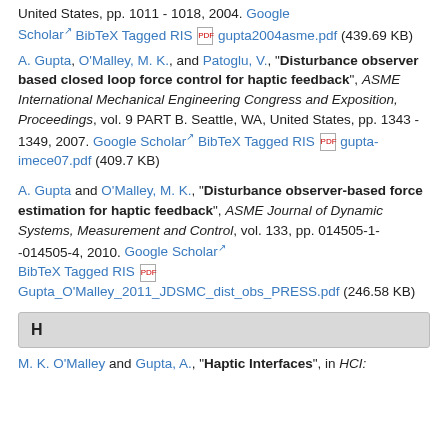United States, pp. 1011 - 1018, 2004. Google Scholar BibTeX Tagged RIS gupta2004asme.pdf (439.69 KB)
A. Gupta, O'Malley, M. K., and Patoglu, V., "Disturbance observer based closed loop force control for haptic feedback", ASME International Mechanical Engineering Congress and Exposition, Proceedings, vol. 9 PART B. Seattle, WA, United States, pp. 1343 - 1349, 2007. Google Scholar BibTeX Tagged RIS gupta-imece07.pdf (409.7 KB)
A. Gupta and O'Malley, M. K., "Disturbance observer-based force estimation for haptic feedback", ASME Journal of Dynamic Systems, Measurement and Control, vol. 133, pp. 014505-1--014505-4, 2010. Google Scholar BibTeX Tagged RIS Gupta_O'Malley_2011_JDSMC_dist_obs_PRESS.pdf (246.58 KB)
H
M. K. O'Malley and Gupta, A., "Haptic Interfaces", in HCI: